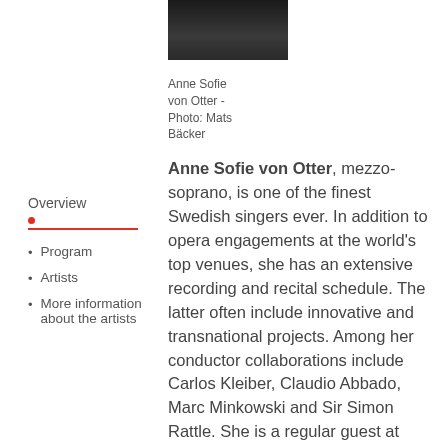[Figure (photo): Portrait photo of Anne Sofie von Otter, person in dark clothing against neutral background]
Anne Sofie von Otter - Photo: Mats Bäcker
Overview
Program
Artists
More information about the artists
Anne Sofie von Otter, mezzo-soprano, is one of the finest Swedish singers ever. In addition to opera engagements at the world's top venues, she has an extensive recording and recital schedule. The latter often include innovative and transnational projects. Among her conductor collaborations include Carlos Kleiber, Claudio Abbado, Marc Minkowski and Sir Simon Rattle. She is a regular guest at leading festivals and has achieved great success